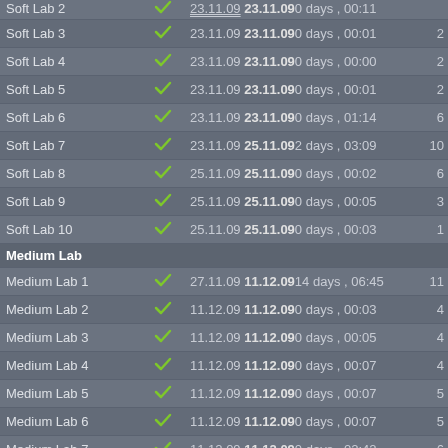| Name | Status | Start | End | Duration | Count |
| --- | --- | --- | --- | --- | --- |
| Soft Lab 3 | ✓ | 23.11.09 | 23.11.09 | 0 days , 00:01 | 2 |
| Soft Lab 4 | ✓ | 23.11.09 | 23.11.09 | 0 days , 00:00 | 2 |
| Soft Lab 5 | ✓ | 23.11.09 | 23.11.09 | 0 days , 00:01 | 2 |
| Soft Lab 6 | ✓ | 23.11.09 | 23.11.09 | 0 days , 01:14 | 6 |
| Soft Lab 7 | ✓ | 23.11.09 | 25.11.09 | 2 days , 03:09 | 10 |
| Soft Lab 8 | ✓ | 25.11.09 | 25.11.09 | 0 days , 00:02 | 6 |
| Soft Lab 9 | ✓ | 25.11.09 | 25.11.09 | 0 days , 00:05 | 3 |
| Soft Lab 10 | ✓ | 25.11.09 | 25.11.09 | 0 days , 00:03 | 1 |
| Medium Lab |  |  |  |  |  |
| Medium Lab 1 | ✓ | 27.11.09 | 11.12.09 | 14 days , 06:45 | 11 |
| Medium Lab 2 | ✓ | 11.12.09 | 11.12.09 | 0 days , 00:03 | 4 |
| Medium Lab 3 | ✓ | 11.12.09 | 11.12.09 | 0 days , 00:05 | 4 |
| Medium Lab 4 | ✓ | 11.12.09 | 11.12.09 | 0 days , 00:07 | 4 |
| Medium Lab 5 | ✓ | 11.12.09 | 11.12.09 | 0 days , 00:07 | 5 |
| Medium Lab 6 | ✓ | 11.12.09 | 11.12.09 | 0 days , 00:07 | 5 |
| Medium Lab 7 | ✓ | 11.12.09 | 11.12.09 | 0 days , 02:42 | 6 |
| Medium Lab 8 | ✓ | 12.12.09 | 30.12.09 | 18 days , 16:30 | 35 |